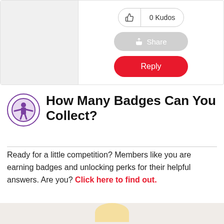[Figure (screenshot): UI card showing 0 Kudos button, Share button, and Reply button in a forum/community interface]
How Many Badges Can You Collect?
Ready for a little competition? Members like you are earning badges and unlocking perks for their helpful answers. Are you? Click here to find out.